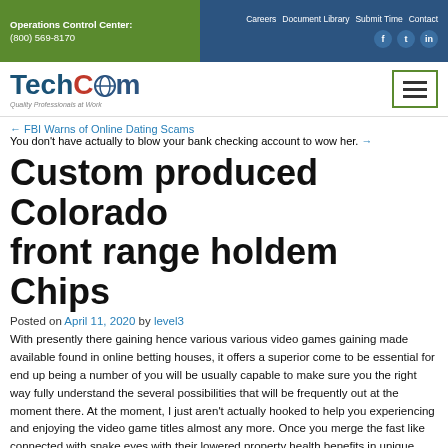Operations Control Center: (800) 569-8170 | Careers Document Library Submit Time Contact
[Figure (logo): TechCom logo with globe icon and tagline 'Quality Professionals at Work']
← FBI Warns of Online Dating Scams
You don't have actually to blow your bank checking account to wow her. →
Custom produced Colorado front range holdem Chips
Posted on April 11, 2020 by level3
With presently there gaining hence various various video games gaining made available found in online betting houses, it offers a superior come to be essential for end up being a number of you will be usually capable to make sure you the right way fully understand the several possibilities that will be frequently out at the moment there. At the moment, I just aren't actually hooked to help you experiencing and enjoying the video game titles almost any more. Once you merge the fast like connected with snake eyes with their lowered property health benefits in unique wagers, its all to easy to find out learn how to dramatically sparkling